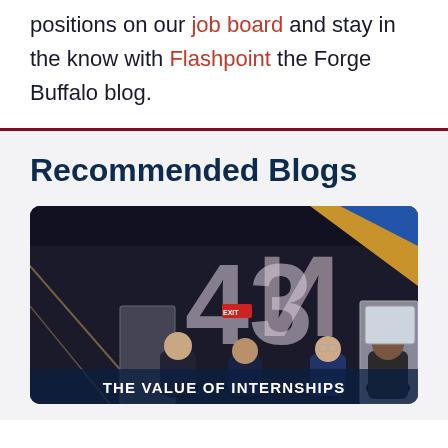positions on our job board and stay in the know with Flashpoint the Forge Buffalo blog.
Recommended Blogs
[Figure (photo): Photo of people at what appears to be an innovation/tech space with large 'N43' signage visible, people standing in a modern interior space]
THE VALUE OF INTERNSHIPS